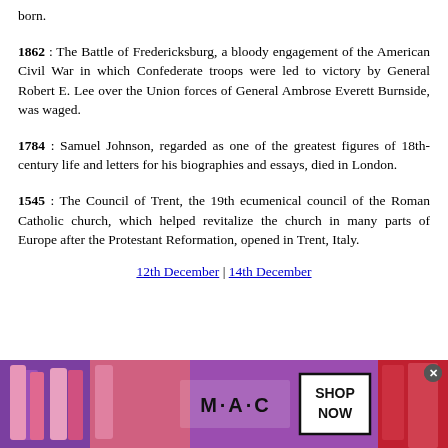born.
1862 : The Battle of Fredericksburg, a bloody engagement of the American Civil War in which Confederate troops were led to victory by General Robert E. Lee over the Union forces of General Ambrose Everett Burnside, was waged.
1784 : Samuel Johnson, regarded as one of the greatest figures of 18th-century life and letters for his biographies and essays, died in London.
1545 : The Council of Trent, the 19th ecumenical council of the Roman Catholic church, which helped revitalize the church in many parts of Europe after the Protestant Reformation, opened in Trent, Italy.
12th December | 14th December
[Figure (photo): MAC cosmetics advertisement showing lipsticks, MAC logo, and SHOP NOW button]